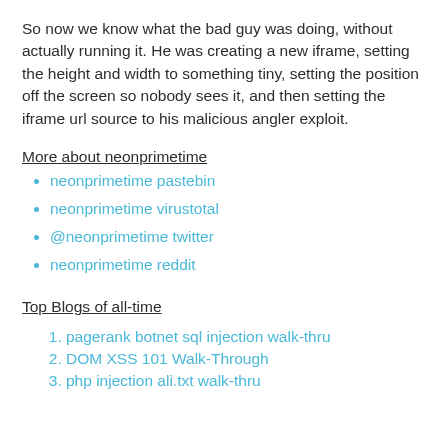So now we know what the bad guy was doing, without actually running it. He was creating a new iframe, setting the height and width to something tiny, setting the position off the screen so nobody sees it, and then setting the iframe url source to his malicious angler exploit.
More about neonprimetime
neonprimetime pastebin
neonprimetime virustotal
@neonprimetime twitter
neonprimetime reddit
Top Blogs of all-time
pagerank botnet sql injection walk-thru
DOM XSS 101 Walk-Through
php injection ali.txt walk-thru